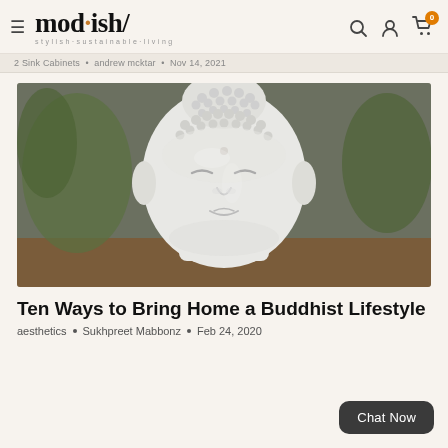mod·ish/ stylish·sustainable·living
2 Sink Cabinets • andrew mcktar • Nov 14, 2021
[Figure (photo): Close-up photo of a white ceramic Buddha head statue with eyes closed, textured curled hair on top, a small bindi dot on forehead. Green plant visible in blurred background on a wooden surface.]
Ten Ways to Bring Home a Buddhist Lifestyle
aesthetics • Sukhpreet Mabbonz • Feb 24, 2020